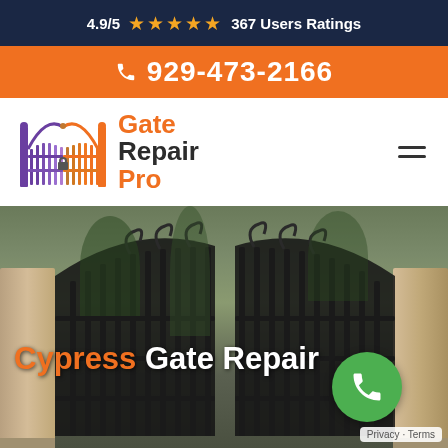4.9/5 ★★★★★ 367 Users Ratings
929-473-2166
[Figure (logo): Gate Repair Pro logo with gate icon]
[Figure (photo): Ornamental iron double gate with stone pillars and trees in background, with hero text 'Cypress Gate Repair' and phone button overlay]
Cypress Gate Repair
Privacy · Terms